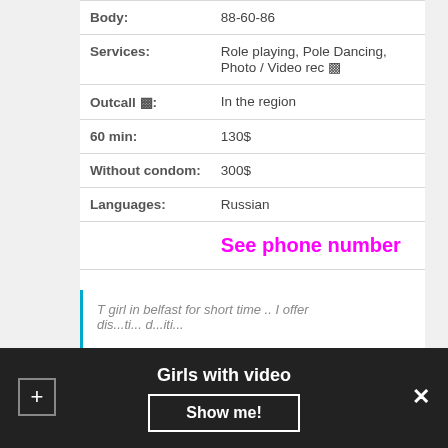| Field | Value |
| --- | --- |
| Body: | 88-60-86 |
| Services: | Role playing, Pole Dancing, Photo / Video rec 🎥 |
| Outcall 🚗: | In the region |
| 60 min: | 130$ |
| Without condom: | 300$ |
| Languages: | Russian |
See phone number
T girl in belfast for short time .. I offer dis...ti... d...iti...
Girls with video
Show me!